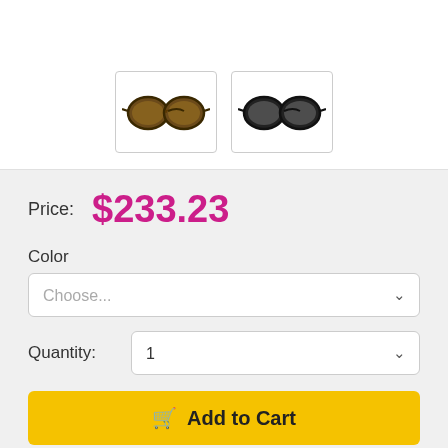[Figure (photo): Two thumbnail images of sunglasses: left pair with brown tortoise frames and brown lenses, right pair with black frames and grey lenses]
Price: $233.23
Color
Choose...
Quantity: 1
Add to Cart